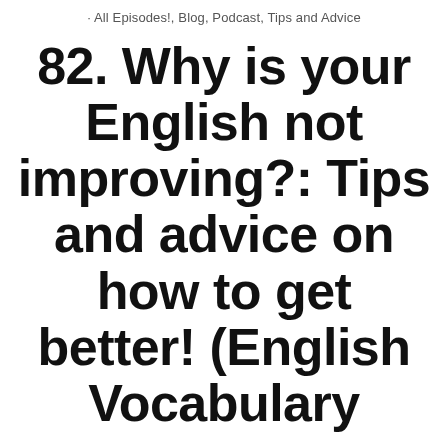· All Episodes!, Blog, Podcast, Tips and Advice
82. Why is your English not improving?: Tips and advice on how to get better! (English Vocabulary